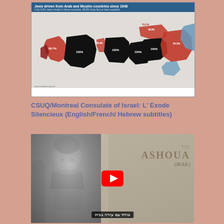[Figure (map): Map showing 'Jews driven from Arab and Muslim countries since 1948'. Countries shown in black (100% expelled), red/dark red (high percentages), and blue. Title: 'Only 0.2% Jews remain in these countries, 99.8% have fled or been expelled'. Source: www.israeladvocacy.net]
CSUQ/Montreal Consulate of Israel: L' Exode Silencieux (English/French/ Hebrew subtitles)
[Figure (screenshot): YouTube video screenshot showing a black and white photo of a young person, with text 'ASHOUA' and '(IRAK)' visible on the right side (documentary style title card), a YouTube play button in the center, and Hebrew subtitle text at the bottom reading: נגלתי עם עזרה בבית]